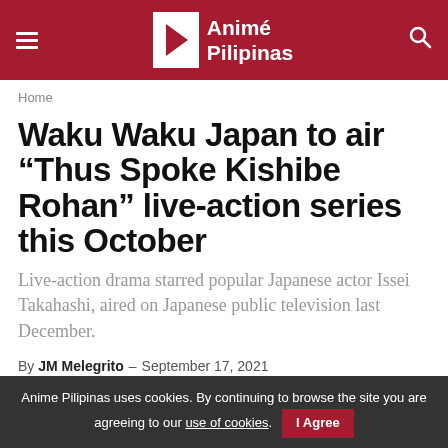Animé Pilipinas
Home
Waku Waku Japan to air "Thus Spoke Kishibe Rohan" live-action series this October
Live-action drama starred popular Japanese actor Issei Takahashi, aired on Japanese public television last December.
By JM Melegrito - September 17, 2021
Anime Pilipinas uses cookies. By continuing to browse the site you are agreeing to our use of cookies. I Agree